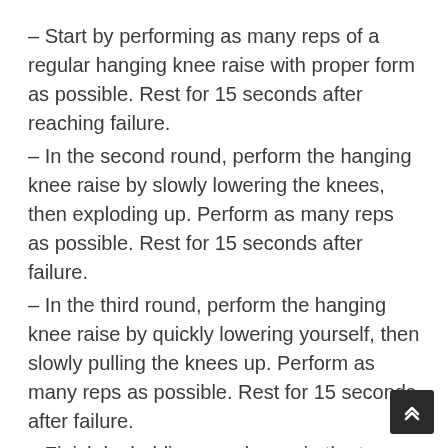– Start by performing as many reps of a regular hanging knee raise with proper form as possible. Rest for 15 seconds after reaching failure.
– In the second round, perform the hanging knee raise by slowly lowering the knees, then exploding up. Perform as many reps as possible. Rest for 15 seconds after failure.
– In the third round, perform the hanging knee raise by quickly lowering yourself, then slowly pulling the knees up. Perform as many reps as possible. Rest for 15 seconds after failure.
– Finish by holding your knees in the top position for as long as you can. Great news – you're finally done! Hit the shower room and drag yourself to bed.